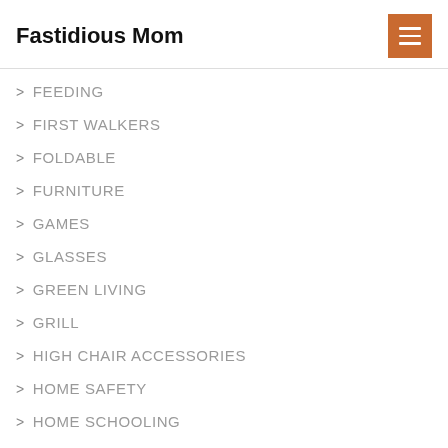Fastidious Mom
FEEDING
FIRST WALKERS
FOLDABLE
FURNITURE
GAMES
GLASSES
GREEN LIVING
GRILL
HIGH CHAIR ACCESSORIES
HOME SAFETY
HOME SCHOOLING